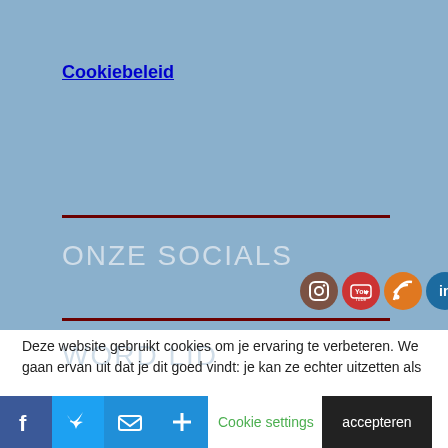Cookiebeleid
ONZE SOCIALS
[Figure (illustration): Row of social media icons: Instagram, YouTube, RSS, LinkedIn, Twitter, Facebook]
WORD LID
Deze website gebruikt cookies om je ervaring te verbeteren. We gaan ervan uit dat je dit goed vindt: je kan ze echter uitzetten als
[Figure (illustration): Social share buttons: Facebook, Twitter, Mail, Plus; Cookie settings link; accepteren button]